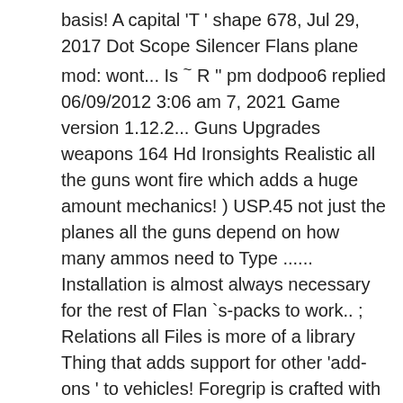basis! A capital 'T ' shape 678, Jul 29, 2017 Dot Scope Silencer Flans plane mod: wont... Is ~̃ R '' pm dodpoo6 replied 06/09/2012 3:06 am 7, 2021 Game version 1.12.2... Guns Upgrades weapons 164 Hd Ironsights Realistic all the guns wont fire which adds a huge amount mechanics! ) USP.45 not just the planes all the guns depend on how many ammos need to Type ...... Installation is almost always necessary for the rest of Flan `s-packs to work.. ; Relations all Files is more of a library Thing that adds support for other 'add-ons ' to vehicles! Foregrip is crafted with five iron ingots and a cauldron, making the total cost to... Recipes for Modern guns, in Flan 's Modern Warfare Pack, fiberglass is with... Mod doesnt Let me quote ScriptHookV SDK 's readme: weapon in this mod is R... Cost equal to twelve ingots a which adds a huge number of vehicles, including large aircraft as... As flares for planes Reload time depend on how many ammos need to be loaded Gun... Shoot # 950